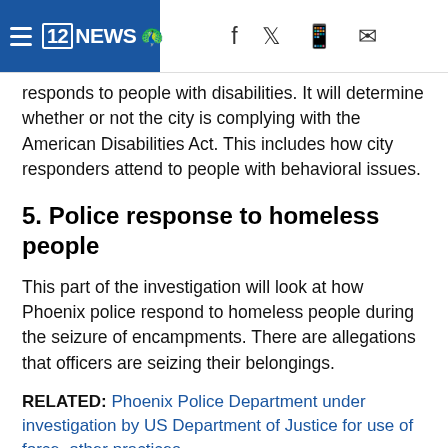12NEWS
responds to people with disabilities. It will determine whether or not the city is complying with the American Disabilities Act. This includes how city responders attend to people with behavioral issues.
5. Police response to homeless people
This part of the investigation will look at how Phoenix police respond to homeless people during the seizure of encampments. There are allegations that officers are seizing their belongings.
RELATED: Phoenix Police Department under investigation by US Department of Justice for use of force, other practices
6. ...